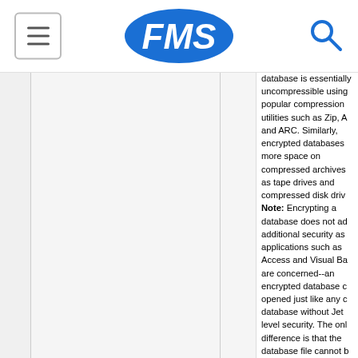FMS [logo with hamburger menu and search icon]
database is essentially uncompressible using popular compression utilities such as Zip, A and ARC. Similarly, encrypted databases more space on compressed archives as tape drives and compressed disk driv Note: Encrypting a database does not ad additional security as applications such as Access and Visual Ba are concerned--an encrypted database c opened just like any c database without Jet level security. The onl difference is that the database file cannot b